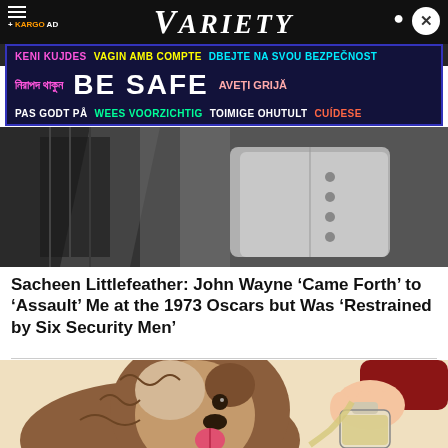VARIETY
[Figure (screenshot): Variety website header with KARGO AD badge, Variety logo in white italic on black background, user icon and close button]
[Figure (infographic): Safety awareness ad banner with multilingual BE SAFE text in various colors on dark blue background: KENI KUJDES, VAGIN AMB COMPTE, DBEJTE NA SVOU BEZPECNOST, Bengali text, BE SAFE, AVETI GRIJA, PAS GODT PA, WEES VOORZICHTIG, TOIMIGE OHUTULT, CUIDESE]
[Figure (photo): Black and white photo showing clothing/fabric textures, appears to be a fashion or entertainment article image]
Sacheen Littlefeather: John Wayne ‘Came Forth’ to ‘Assault’ Me at the 1973 Oscars but Was ‘Restrained by Six Security Men’
[Figure (illustration): Colorful illustration of a fluffy brown and white dog (appears to be a Labradoodle or similar breed) with tongue out, while a hand pours liquid from a bottle toward the dog]